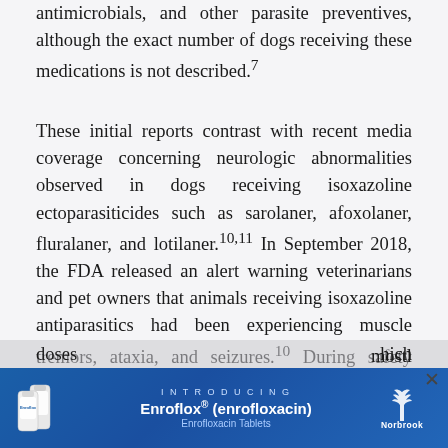antimicrobials, and other parasite preventives, although the exact number of dogs receiving these medications is not described.7
These initial reports contrast with recent media coverage concerning neurologic abnormalities observed in dogs receiving isoxazoline ectoparasiticides such as sarolaner, afoxolaner, fluralaner, and lotilaner.10,11 In September 2018, the FDA released an alert warning veterinarians and pet owners that animals receiving isoxazoline antiparasitics had been experiencing muscle tremors, ataxia, and seizures.10 During safety studies conducted during sarolaner drug approval, some 8-week-old beagles receiving 3 times and 5 times the upper end of the recommended dose (i.e., 12 mg/kg and 20 mg/kg, respectively) every 28 days for 10 doses
[Figure (other): Advertisement banner for Enroflox (enrofloxacin) by Norbrook, with product bottles and blue background]